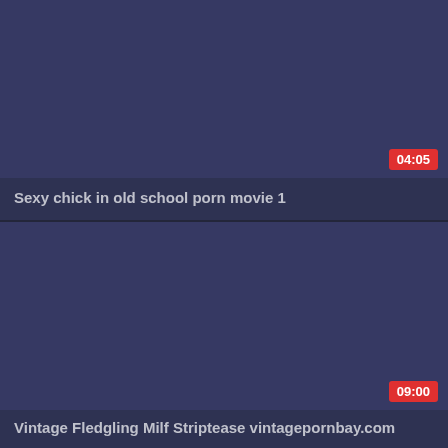[Figure (screenshot): Video thumbnail placeholder for 'Sexy chick in old school porn movie 1', dark blue-gray background with duration badge showing 04:05]
Sexy chick in old school porn movie 1
[Figure (screenshot): Video thumbnail placeholder for 'Vintage Fledgling Milf Striptease vintagepornbay.com', dark blue-gray background with duration badge showing 09:00]
Vintage Fledgling Milf Striptease vintagepornbay.com